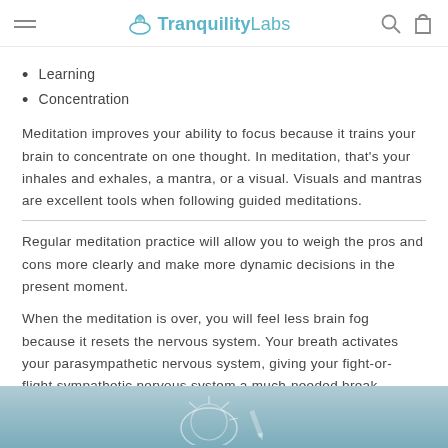TranquilityLabs
Learning
Concentration
Meditation improves your ability to focus because it trains your brain to concentrate on one thought. In meditation, that's your inhales and exhales, a mantra, or a visual. Visuals and mantras are excellent tools when following guided meditations.
Regular meditation practice will allow you to weigh the pros and cons more clearly and make more dynamic decisions in the present moment.
When the meditation is over, you will feel less brain fog because it resets the nervous system. Your breath activates your parasympathetic nervous system, giving your fight-or-flight sympathetic nervous system a much-needed break.
[Figure (illustration): Partial illustration at the bottom of the page showing a meditation or brain-related graphic on a teal/blue background]